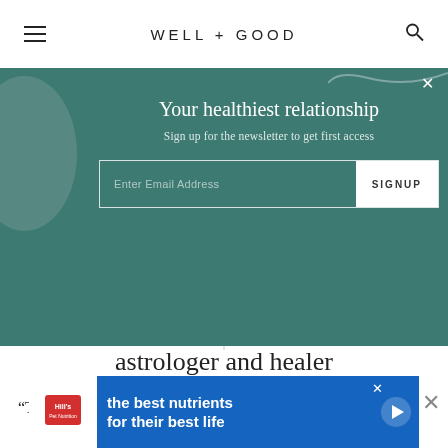WELL+GOOD
[Figure (screenshot): Newsletter signup overlay with teal background, decorative circle on left, title 'Your healthiest relationship', subtitle 'Sign up for the newsletter to get first access', email input field, and SIGNUP button]
astrologer and healer
“The dueling nature of these meteor showers suggests
[Figure (screenshot): Hill's Pet Nutrition advertisement banner: blue background with white Hills logo, text 'the best nutrients for their best life', play button icon]